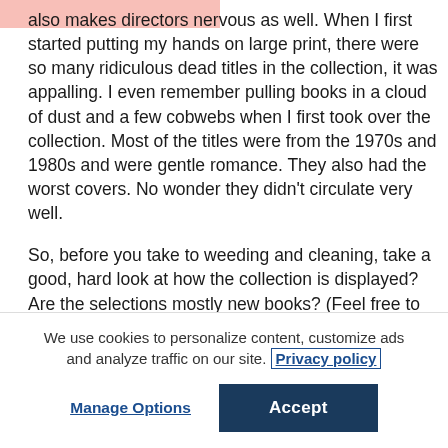also makes directors nervous as well. When I first started putting my hands on large print, there were so many ridiculous dead titles in the collection, it was appalling. I even remember pulling books in a cloud of dust and a few cobwebs when I first took over the collection. Most of the titles were from the 1970s and 1980s and were gentle romance. They also had the worst covers. No wonder they didn't circulate very well.

So, before you take to weeding and cleaning, take a good, hard look at how the collection is displayed? Are the selections mostly new books? (Feel free to traipse
We use cookies to personalize content, customize ads and analyze traffic on our site. Privacy policy
Manage Options   Accept